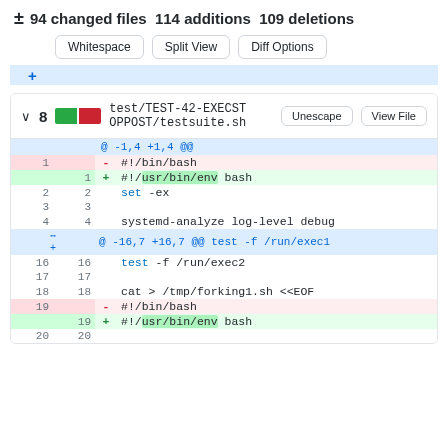± 94 changed files 114 additions 109 deletions
Whitespace | Split View | Diff Options
test/TEST-42-EXECSTOPPOST/testsuite.sh  Unescape  View File
| old | new | sign | code |
| --- | --- | --- | --- |
|  |  |  | @ -1,4 +1,4 @@ |
| 1 |  | - | #!/bin/bash |
|  | 1 | + | #!/usr/bin/env bash |
| 2 | 2 |  | set -ex |
| 3 | 3 |  |  |
| 4 | 4 |  | systemd-analyze log-level debug |
|  |  |  | @ -16,7 +16,7 @@ test -f /run/exec1 |
| 16 | 16 |  | test -f /run/exec2 |
| 17 | 17 |  |  |
| 18 | 18 |  | cat > /tmp/forking1.sh <<EOF |
| 19 |  | - | #!/bin/bash |
|  | 19 | + | #!/usr/bin/env bash |
| 20 | 20 |  |  |